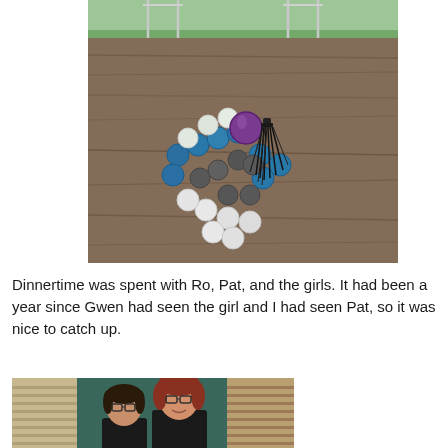[Figure (photo): A beaded mala bracelet with blue, white/clear, and dark beads, a purple bead accent, and a black tassel, resting on a wooden surface outdoors.]
Dinnertime was spent with Ro, Pat, and the girls. It had been a year since Gwen had seen the girl and I had seen Pat, so it was nice to catch up.
[Figure (photo): Two women posing together indoors, one shorter with glasses and dark hair, one taller with red hair and glasses, in what appears to be a restaurant or home with wood blinds in the background.]